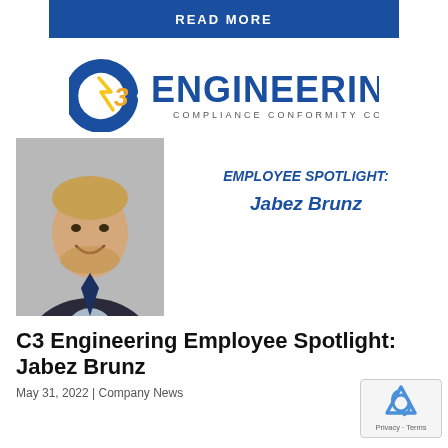READ MORE
[Figure (logo): C3 Engineering logo with circular C3 icon and text ENGINEERING, COMPLIANCE CONFORMITY CONSULTING]
[Figure (photo): Professional headshot of Jabez Brunz, a man with blonde beard wearing a dark blazer and light blue shirt, smiling]
EMPLOYEE SPOTLIGHT: Jabez Brunz
C3 Engineering Employee Spotlight: Jabez Brunz
May 31, 2022 | Company News